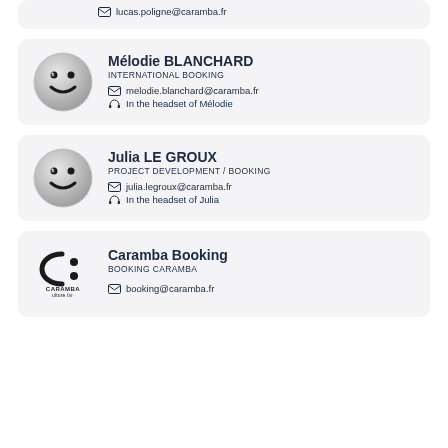lucas.poligne@caramba.fr
Mélodie BLANCHARD
INTERNATIONAL BOOKING
melodie.blanchard@caramba.fr
In the headset of Mélodie
Julia LE GROUX
PROJECT DEVELOPMENT / BOOKING
julia.legroux@caramba.fr
In the headset of Julia
Caramba Booking
BOOKING CARAMBA
booking@caramba.fr